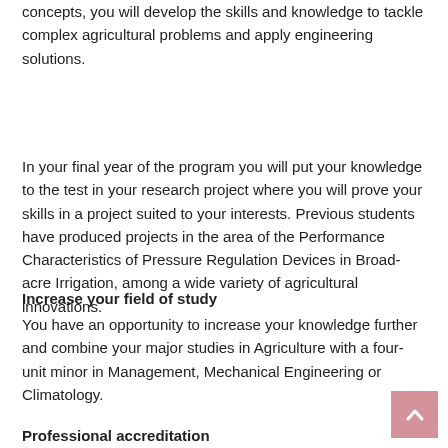concepts, you will develop the skills and knowledge to tackle complex agricultural problems and apply engineering solutions.
In your final year of the program you will put your knowledge to the test in your research project where you will prove your skills in a project suited to your interests. Previous students have produced projects in the area of the Performance Characteristics of Pressure Regulation Devices in Broad-acre Irrigation, among a wide variety of agricultural innovations.
Increase your field of study
You have an opportunity to increase your knowledge further and combine your major studies in Agriculture with a four-unit minor in Management, Mechanical Engineering or Climatology.
Professional accreditation